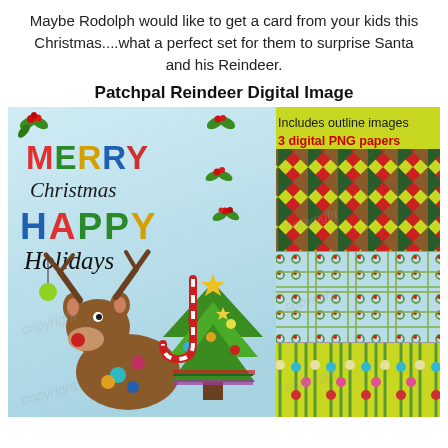Maybe Rodolph would like to get a card from your kids this Christmas....what a perfect set for them to surprise Santa and his Reindeer.
Patchpal Reindeer Digital Image
[Figure (illustration): Digital clip art product preview showing a Patchpal Reindeer illustration with 'Merry Christmas Happy Holidays' text, a cartoon reindeer and Christmas tree on the left panel, and three digital PNG paper thumbnails on the right (diamond/argyle pattern in red/green/yellow, holly wreath border pattern on light blue, and ornament stripes on yellow-green). Text overlays read 'Includes outline images' and '3 digital PNG papers' in red. Copyright watermarks throughout.]